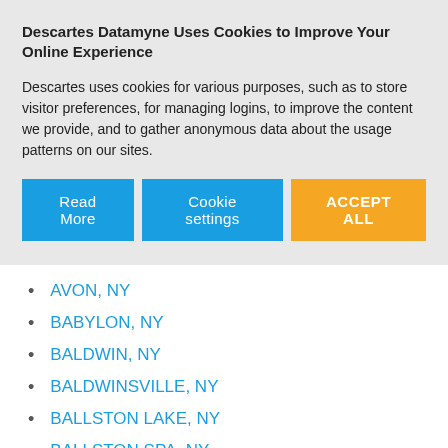Descartes Datamyne Uses Cookies to Improve Your Online Experience
Descartes uses cookies for various purposes, such as to store visitor preferences, for managing logins, to improve the content we provide, and to gather anonymous data about the usage patterns on our sites.
AVON, NY
BABYLON, NY
BALDWIN, NY
BALDWINSVILLE, NY
BALLSTON LAKE, NY
BALLSTON SPA, NY
BARNEVELD, NY